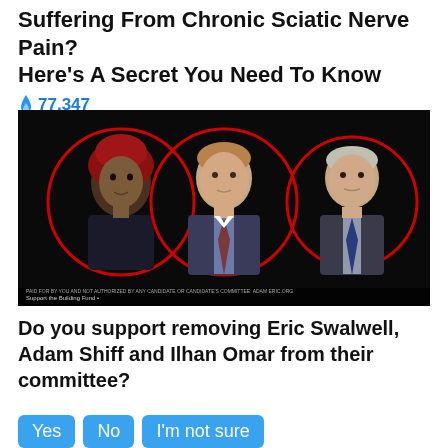Suffering From Chronic Sciatic Nerve Pain? Here's A Secret You Need To Know
🔥 77,347
[Figure (photo): Three people in circular red-outlined frames against a dark background: a woman wearing a red headscarf on the left, a man in a suit in the center, and a man in a suit on the right. Small text at the bottom of the image reads 'Support the Building Fund' and a disclaimer line.]
Do you support removing Eric Swalwell, Adam Shiff and Ilhan Omar from their committee?
Yes
No
I'm not sure